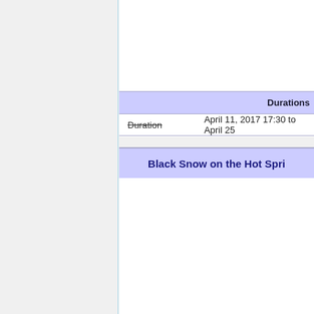| Durations |
| --- |
| Duration | April 11, 2017 17:30 to April 25... |
Black Snow on the Hot Spri...
| Duration... |
| --- |